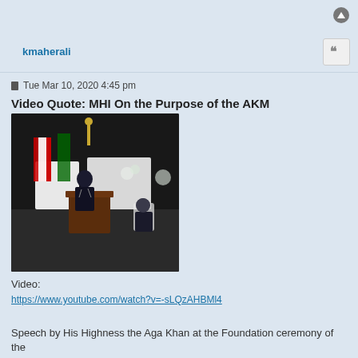kmaherali
Tue Mar 10, 2020 4:45 pm
Video Quote: MHI On the Purpose of the AKM
[Figure (photo): Person in dark suit speaking at a wooden podium with microphones, with Canadian flag and another flag visible on the left, and another person seated in the background on the right. Formal indoor ceremony setting with floral arrangements.]
Video:
https://www.youtube.com/watch?v=-sLQzAHBMl4
Speech by His Highness the Aga Khan at the Foundation ceremony of the